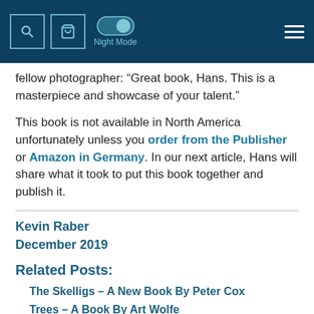Night Mode [search icon] [cart icon] [hamburger menu]
fellow photographer: “Great book, Hans. This is a masterpiece and showcase of your talent.”
This book is not available in North America unfortunately unless you order from the Publisher or Amazon in Germany. In our next article, Hans will share what it took to put this book together and publish it.
Kevin Raber
December 2019
Related Posts:
The Skelligs – A New Book By Peter Cox
Trees – A Book By Art Wolfe